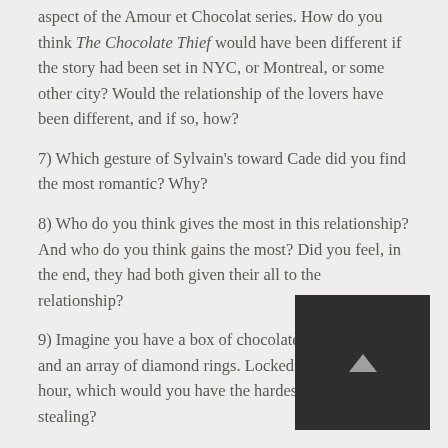aspect of the Amour et Chocolat series. How do you think The Chocolate Thief would have been different if the story had been set in NYC, or Montreal, or some other city? Would the relationship of the lovers have been different, and if so, how?
7) Which gesture of Sylvain's toward Cade did you find the most romantic? Why?
8) Who do you think gives the most in this relationship? And who do you think gains the most? Did you feel, in the end, they had both given their all to the relationship?
9) Imagine you have a box of chocolates in front of you and an array of diamond rings. Locked in a room for an hour, which would you have the hardest time not stealing?